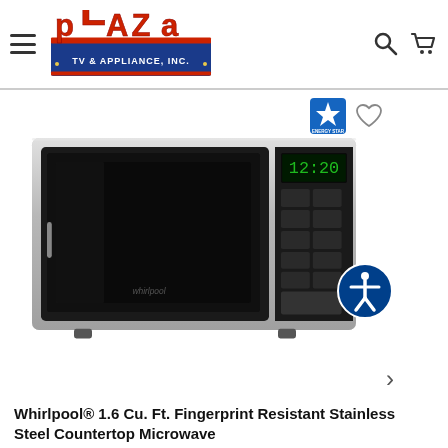Plaza TV & Appliance, Inc.
[Figure (photo): Whirlpool stainless steel countertop microwave with black front panel and digital display showing 12:20]
Whirlpool® 1.6 Cu. Ft. Fingerprint Resistant Stainless Steel Countertop Microwave